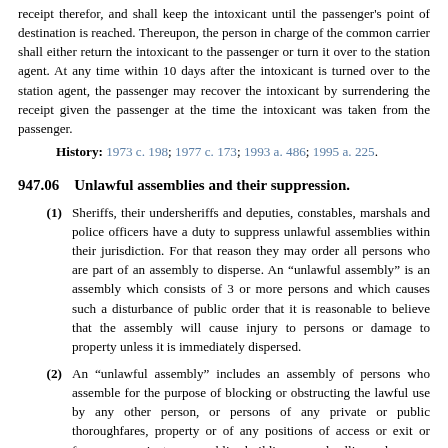receipt therefor, and shall keep the intoxicant until the passenger's point of destination is reached. Thereupon, the person in charge of the common carrier shall either return the intoxicant to the passenger or turn it over to the station agent. At any time within 10 days after the intoxicant is turned over to the station agent, the passenger may recover the intoxicant by surrendering the receipt given the passenger at the time the intoxicant was taken from the passenger.
History: 1973 c. 198; 1977 c. 173; 1993 a. 486; 1995 a. 225.
947.06   Unlawful assemblies and their suppression.
(1) Sheriffs, their undersheriffs and deputies, constables, marshals and police officers have a duty to suppress unlawful assemblies within their jurisdiction. For that reason they may order all persons who are part of an assembly to disperse. An “unlawful assembly” is an assembly which consists of 3 or more persons and which causes such a disturbance of public order that it is reasonable to believe that the assembly will cause injury to persons or damage to property unless it is immediately dispersed.
(2) An “unlawful assembly” includes an assembly of persons who assemble for the purpose of blocking or obstructing the lawful use by any other person, or persons of any private or public thoroughfares, property or of any positions of access or exit or from any private or public building, or dwelling place, or appurtenances thereof, or which would be hazardous to be placed…